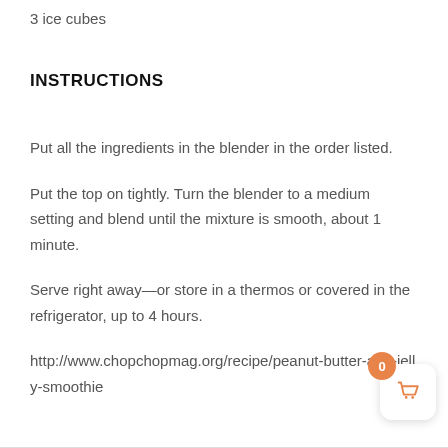3  ice cubes
INSTRUCTIONS
Put all the ingredients in the blender in the order listed.
Put the top on tightly. Turn the blender to a medium setting and blend until the mixture is smooth, about 1 minute.
Serve right away—or store in a thermos or covered in the refrigerator, up to 4 hours.
http://www.chopchopmag.org/recipe/peanut-butter-and-jelly-smoothie